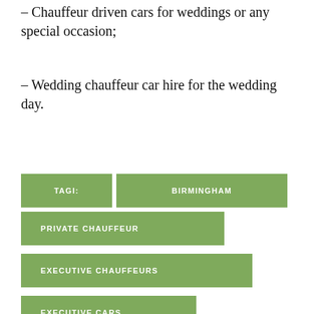– Chauffeur driven cars for weddings or any special occasion;
– Wedding chauffeur car hire for the wedding day.
TAGI: BIRMINGHAM
PRIVATE CHAUFFEUR
EXECUTIVE CHAUFFEURS
EXECUTIVE CARS